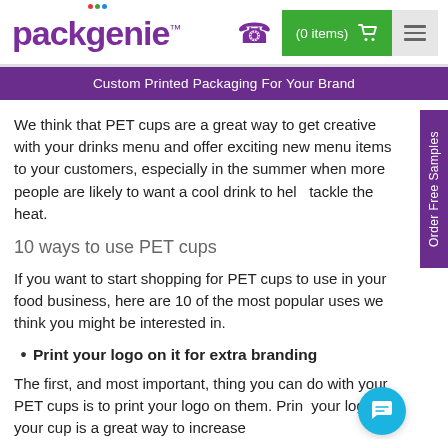packgenie™ | (0 items) 🛒 | ☰
Custom Printed Packaging For Your Brand
We think that PET cups are a great way to get creative with your drinks menu and offer exciting new menu items to your customers, especially in the summer when more people are likely to want a cool drink to help tackle the heat.
10 ways to use PET cups
If you want to start shopping for PET cups to use in your food business, here are 10 of the most popular uses we think you might be interested in.
Print your logo on it for extra branding
The first, and most important, thing you can do with your PET cups is to print your logo on them. Printing your logos on your cup is a great way to increase